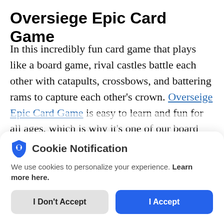Oversiege Epic Card Game
In this incredibly fun card game that plays like a board game, rival castles battle each other with catapults, crossbows, and battering rams to capture each other’s crown. Overseige Epic Card Game is easy to learn and fun for all ages, which is why it’s one of our board game
[Figure (screenshot): Cookie Notification modal with shield icon, text 'We use cookies to personalize your experience. Learn more here.', and two buttons: 'I Don't Accept' and 'I Accept']